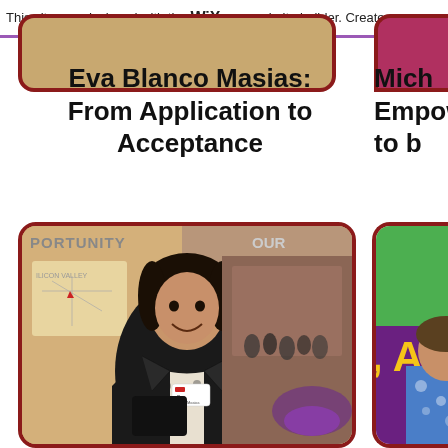This site was designed with the WIX.com website builder. Create yo
Eva Blanco Masias: From Application to Acceptance
[Figure (photo): Photo of Eva Blanco Masias smiling, wearing a black blazer and name tag, standing in a conference or exhibition hall with displays visible in background. Partially visible banner text reads 'PORTUNITY' and 'OUR'.]
Mich... Empow... to b...
[Figure (photo): Partially visible photo showing a person in a blue floral outfit against a green and purple background. Large yellow text reads ', AN'.]